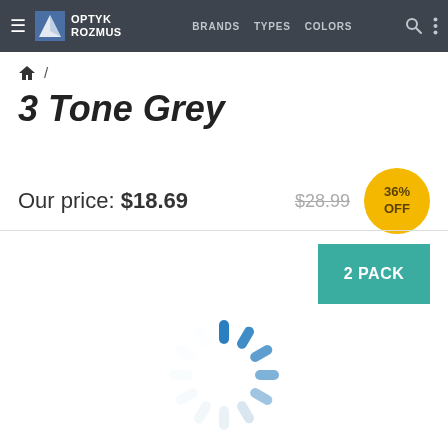OPTYK ROZMUS | BRANDS | TYPES | COLORS
🏠 /
3 Tone Grey
Our price: $18.69   $28.99   36% OFF
2 PACK
[Figure (other): Loading spinner animation — circular arrangement of blue rounded bars radiating from center, varying opacity from light to dark indicating rotation direction]